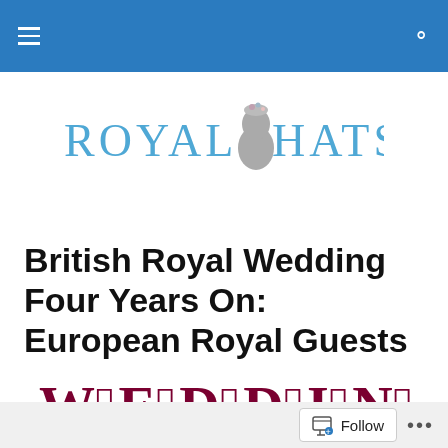Royal Hats (navigation bar with hamburger menu and search icon)
[Figure (logo): Royal Hats logo: text 'ROYAL HATS' in light blue serif capitals with a grey silhouette of a woman's head wearing a floral hat between 'ROYAL' and 'HATS']
British Royal Wedding Four Years On: European Royal Guests
[Figure (illustration): Decorative ornate text reading 'WEDDING' in dark red/maroon with Victorian-style swirl and dot embellishments on each letter]
Our look back at the marvellous royal hats worn at the wedding of the Duke and Duchess of Cambridge four
Follow ...